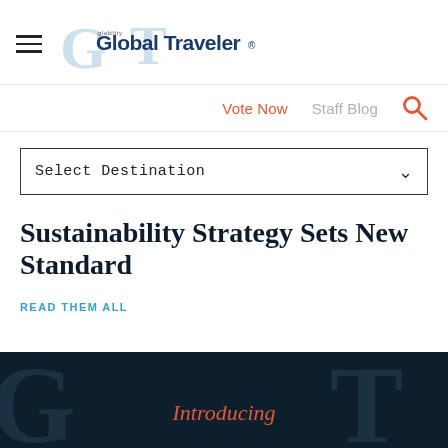Global Traveler
Vote Now  Staff Blog
Select Destination
Sustainability Strategy Sets New Standard
READ THEM ALL
Introducing